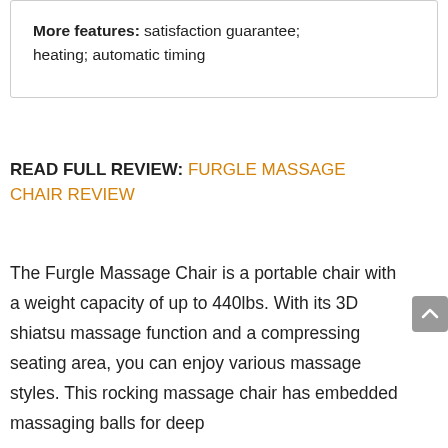More features: satisfaction guarantee; heating; automatic timing
READ FULL REVIEW: FURGLE MASSAGE CHAIR REVIEW
The Furgle Massage Chair is a portable chair with a weight capacity of up to 440lbs. With its 3D shiatsu massage function and a compressing seating area, you can enjoy various massage styles. This rocking massage chair has embedded massaging balls for deep